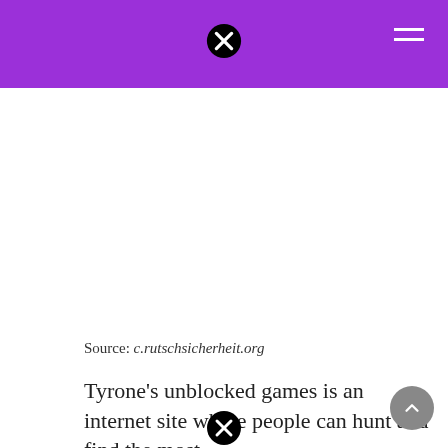Source: c.rutschsicherheit.org
Tyrone’s unblocked games is an internet site where people can hunt and find the most